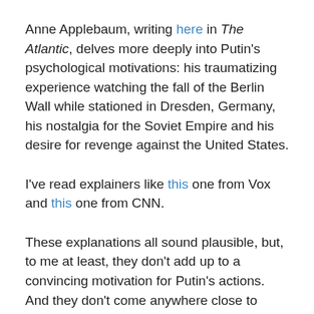Anne Applebaum, writing here in The Atlantic, delves more deeply into Putin's psychological motivations: his traumatizing experience watching the fall of the Berlin Wall while stationed in Dresden, Germany, his nostalgia for the Soviet Empire and his desire for revenge against the United States.
I've read explainers like this one from Vox and this one from CNN.
These explanations all sound plausible, but, to me at least, they don't add up to a convincing motivation for Putin's actions. And they don't come anywhere close to justifying a barbaric invasion and all the death and suffering it will cause.